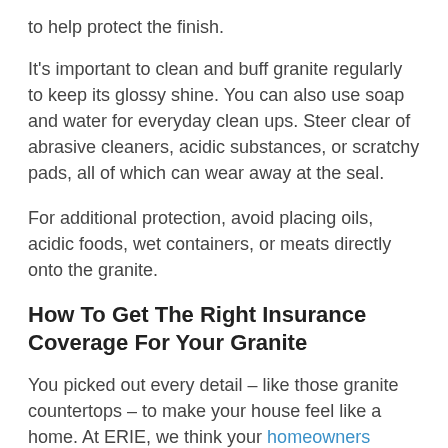to help protect the finish.
It's important to clean and buff granite regularly to keep its glossy shine. You can also use soap and water for everyday clean ups. Steer clear of abrasive cleaners, acidic substances, or scratchy pads, all of which can wear away at the seal.
For additional protection, avoid placing oils, acidic foods, wet containers, or meats directly onto the granite.
How To Get The Right Insurance Coverage For Your Granite
You picked out every detail – like those granite countertops – to make your house feel like a home. At ERIE, we think your homeowners insurance should have that just-right feeling, too.
Better still, every ERIE policy comes with a friendly face right in your neighborhood. Contact your local Erie